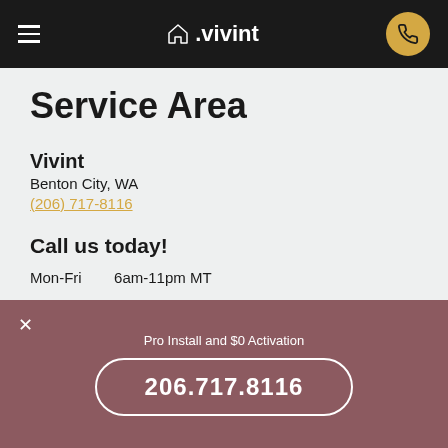Vivint navigation bar with hamburger menu, logo, and phone button
Service Area
Vivint
Benton City, WA
(206) 717-8116
Call us today!
Mon-Fri   6am-11pm MT
Saturday  9am-9pm MT
Sunday    7am-9pm MT
Pro Install and $0 Activation
206.717.8116